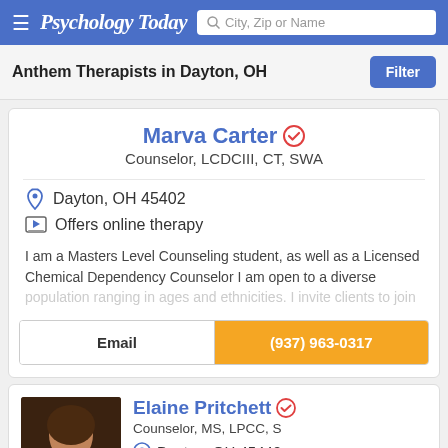Psychology Today — City, Zip or Name search
Anthem Therapists in Dayton, OH
Marva Carter — Counselor, LCDCIII, CT, SWA
Dayton, OH 45402
Offers online therapy
I am a Masters Level Counseling student, as well as a Licensed Chemical Dependency Counselor I am open to a diverse population ranging in ages and ethnicities. I invite clients to join
Email
(937) 963-0317
Elaine Pritchett — Counselor, MS, LPCC, S
Dayton, OH 45440